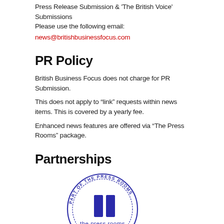Press Release Submission & 'The British Voice' Submissions
Please use the following email:
news@britishbusinessfocus.com
PR Policy
British Business Focus does not charge for PR Submission.
This does not apply to “link” requests within news items. This is covered by a yearly fee.
Enhanced news features are offered via “The Press Rooms” package.
Partnerships
[Figure (logo): The Press Rooms Media Cooperative circular stamp logo with two dark blue rectangular columns in the center and text 'PART OF THE PRESS ROOMS' around the top and 'MEDIA COOPERATIVE' around the bottom, with 'the press rooms' text in the middle.]
British Business Focus is part of The Press Rooms Media...